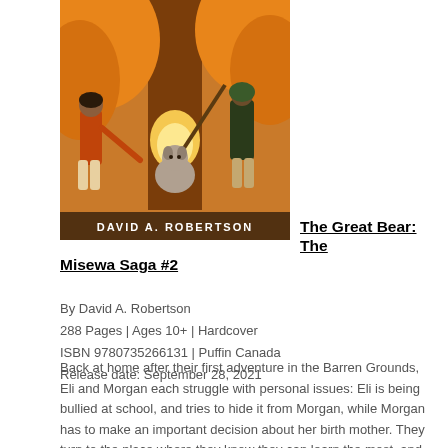[Figure (illustration): Book cover illustration for 'The Great Bear: The Misewa Saga #2' by David A. Robertson. Shows two children and a creature with a long stick near a large tree with orange autumn foliage. The author's name appears at the bottom of the cover.]
The Great Bear: The Misewa Saga #2
By David A. Robertson
288 Pages | Ages 10+ | Hardcover
ISBN 9780735266131 | Puffin Canada
Release date: September 28, 2021
Back at home after their first adventure in the Barren Grounds, Eli and Morgan each struggle with personal issues: Eli is being bullied at school, and tries to hide it from Morgan, while Morgan has to make an important decision about her birth mother. They turn to the place where they know they can learn the most, and make the journey to Misewa to visit their animal friends. This time